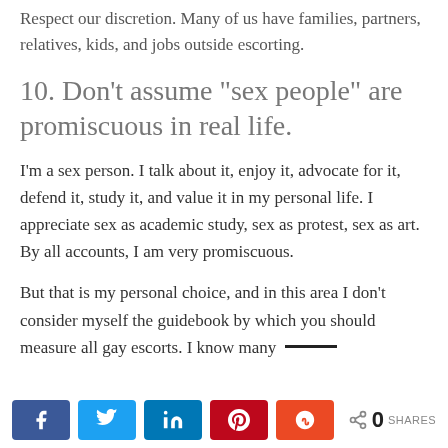Respect our discretion. Many of us have families, partners, relatives, kids, and jobs outside escorting.
10. Don’t assume “sex people” are promiscuous in real life.
I’m a sex person. I talk about it, enjoy it, advocate for it, defend it, study it, and value it in my personal life. I appreciate sex as academic study, sex as protest, sex as art. By all accounts, I am very promiscuous.
But that is my personal choice, and in this area I don’t consider myself the guidebook by which you should measure all gay escorts. I know many —
Share buttons: Facebook, Twitter, LinkedIn, Pinterest, StumbleUpon | 0 SHARES